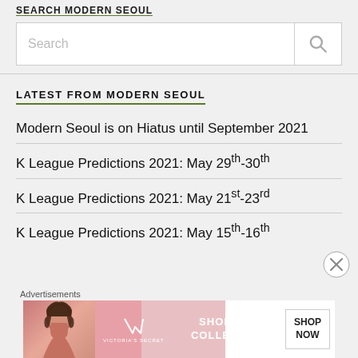SEARCH MODERN SEOUL
[Figure (screenshot): Search input box with placeholder text 'Search' and a magnifying glass icon button on the right]
LATEST FROM MODERN SEOUL
Modern Seoul is on Hiatus until September 2021
K League Predictions 2021: May 29th-30th
K League Predictions 2021: May 21st-23rd
K League Predictions 2021: May 15th-16th
Advertisements
[Figure (photo): Victoria's Secret advertisement banner with model photo, VS logo, 'SHOP THE COLLECTION' text, and 'SHOP NOW' button]